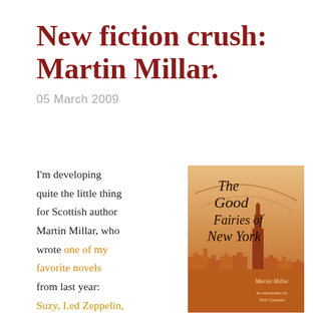New fiction crush: Martin Millar.
05 March 2009
I'm developing quite the little thing for Scottish author Martin Millar, who wrote one of my favorite novels from last year: Suzy, Led Zeppelin, and Me. After
[Figure (photo): Book cover of 'The Good Fairies of New York' by Martin Millar, with an introduction by Neil Gaiman. Orange/sepia toned cover showing a New York City skyline silhouette at the bottom and the title text in dark handwritten-style font.]